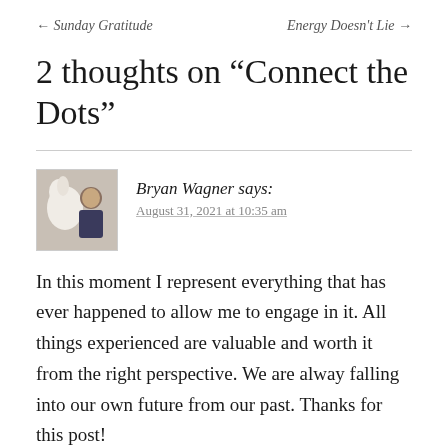← Sunday Gratitude    Energy Doesn't Lie →
2 thoughts on “Connect the Dots”
Bryan Wagner says:
August 31, 2021 at 10:35 am
In this moment I represent everything that has ever happened to allow me to engage in it. All things experienced are valuable and worth it from the right perspective. We are alway falling into our own future from our past. Thanks for this post!